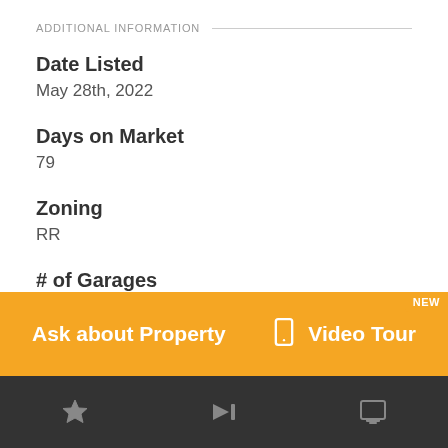ADDITIONAL INFORMATION
Date Listed
May 28th, 2022
Days on Market
79
Zoning
RR
# of Garages
14
Ask about Property
Video Tour
NEW